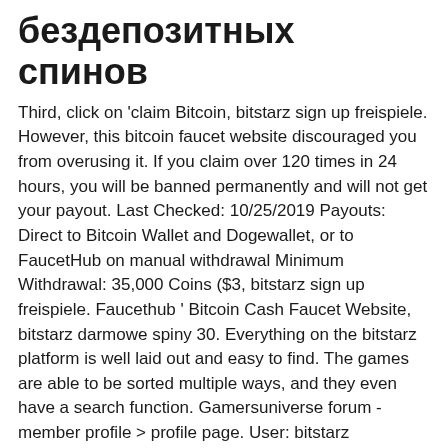бездепозитных спинов
Third, click on 'claim Bitcoin, bitstarz sign up freispiele. However, this bitcoin faucet website discouraged you from overusing it. If you claim over 120 times in 24 hours, you will be banned permanently and will not get your payout. Last Checked: 10/25/2019 Payouts: Direct to Bitcoin Wallet and Dogewallet, or to FaucetHub on manual withdrawal Minimum Withdrawal: 35,000 Coins ($3, bitstarz sign up freispiele. Faucethub ' Bitcoin Cash Faucet Website, bitstarz darmowe spiny 30. Everything on the bitstarz platform is well laid out and easy to find. The games are able to be sorted multiple ways, and they even have a search function. Gamersuniverse forum - member profile &gt; profile page. User: bitstarz complaints, bitstarz 30 spins, title: new member, about: bitstarz. Usatf new